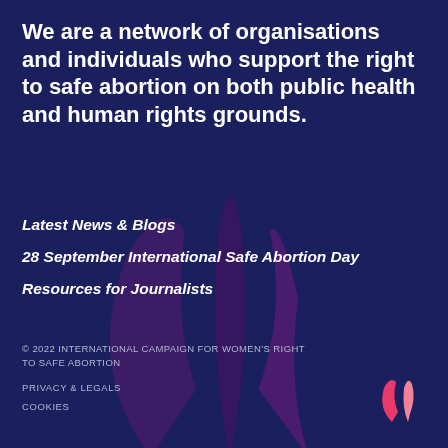We are a network of organisations and individuals who support the right to safe abortion on both public health and human rights grounds.
Latest News & Blogs
28 September International Safe Abortion Day
Resources for Journalists
© 2022 INTERNATIONAL CAMPAIGN FOR WOMEN'S RIGHT TO SAFE ABORTION

PRIVACY & LEGALS

COOKIES
[Figure (logo): International Campaign for Women's Right to Safe Abortion logo — stylized tulip/leaf shape in dark purple as watermark background, and small pink/rose version in bottom right corner]